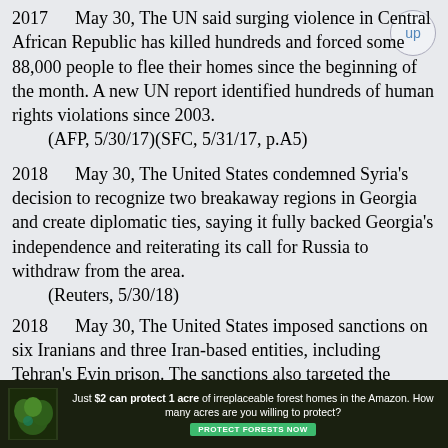2017    May 30, The UN said surging violence in Central African Republic has killed hundreds and forced some 88,000 people to flee their homes since the beginning of the month. A new UN report identified hundreds of human rights violations since 2003.
(AFP, 5/30/17)(SFC, 5/31/17, p.A5)
2018    May 30, The United States condemned Syria's decision to recognize two breakaway regions in Georgia and create diplomatic ties, saying it fully backed Georgia's independence and reiterating its call for Russia to withdraw from the area.
(Reuters, 5/30/18)
2018    May 30, The United States imposed sanctions on six Iranians and three Iran-based entities, including Tehran's Evin prison. The sanctions also targeted the group Ansar-e Hezbollah and the Hanista Programing Group.
(Reuters, 5/30/18)
2018    May 30, Rep. Trey Gowdy, chairman
[Figure (infographic): Advertisement banner: 'Just $2 can protect 1 acre of irreplaceable forest homes in the Amazon. How many acres are you willing to protect?' with a green PROTECT FORESTS NOW button, dark background with forest imagery.]